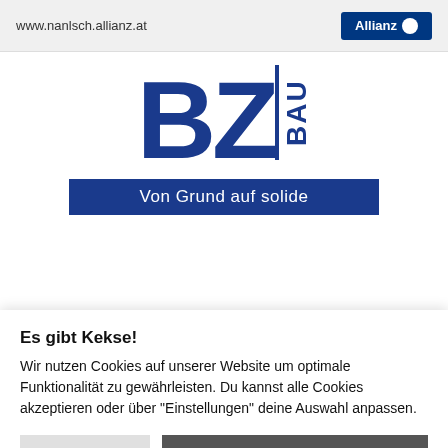www.nanlsch.allianz.at | Allianz
[Figure (logo): BZ Bau logo with large blue BZ letters, vertical bar separator, BAU text in blue, and tagline bar reading 'Von Grund auf solide' on dark blue background]
Waldviertler
Es gibt Kekse!
Wir nutzen Cookies auf unserer Website um optimale Funktionalität zu gewährleisten. Du kannst alle Cookies akzeptieren oder über "Einstellungen" deine Auswahl anpassen.
Einstellungen | Alle Cookies akzeptieren